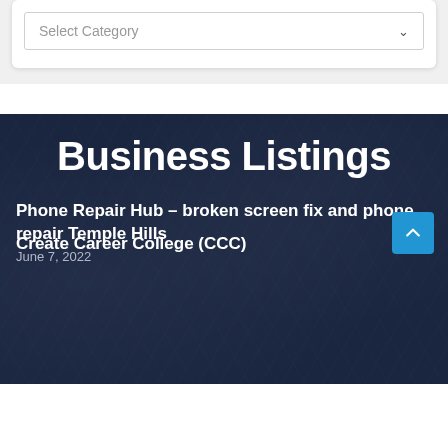Select Category
Business Listings
Phone Repair Hub – broken screen fix and phone repair Temple Hills
June 7, 2022
Create Career College (CCC)